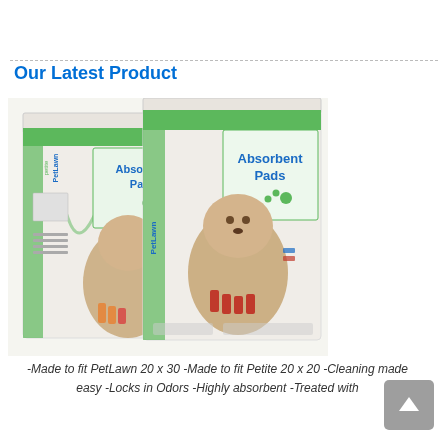Our Latest Product
[Figure (photo): Two PetLawn Absorbent Pads product boxes featuring a fluffy dog on each box — one labeled 'PetLawn petite Absorbent Pads' and the other 'PetLawn Absorbent Pads', both with green branding and paw print graphics.]
-Made to fit PetLawn 20 x 30 -Made to fit Petite 20 x 20 -Cleaning made easy -Locks in Odors -Highly absorbent -Treated with